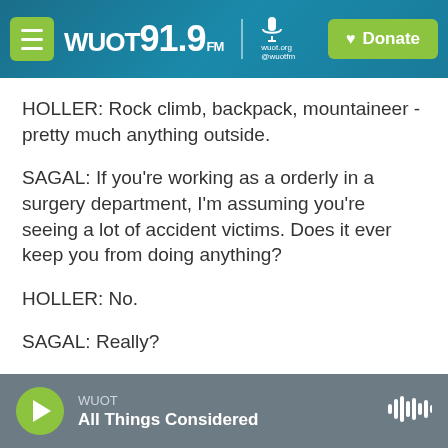[Figure (screenshot): WUOT 91.9 FM radio station navigation bar with hamburger menu, logo, and Donate button]
HOLLER: Rock climb, backpack, mountaineer - pretty much anything outside.
SAGAL: If you're working as a orderly in a surgery department, I'm assuming you're seeing a lot of accident victims. Does it ever keep you from doing anything?
HOLLER: No.
SAGAL: Really?
(LAUGHTER)
[Figure (screenshot): Audio player bar showing WUOT - All Things Considered with green play button and waveform icon]